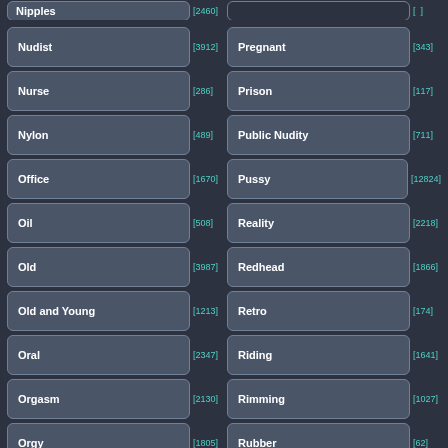Nipples [2460]
Nudist [3912]
Nurse [286]
Nylon [489]
Office [1670]
Oil [508]
Old [3987]
Old and Young [1213]
Oral [2347]
Orgasm [2130]
Orgy [1805]
Pregnant [343]
Prison [117]
Public Nudity [711]
Pussy [12824]
Reality [2218]
Redhead [1866]
Retro [174]
Riding [1641]
Rimming [1027]
Rubber [62]
Russian [952]
Sandwich [93]
Swinger [491]